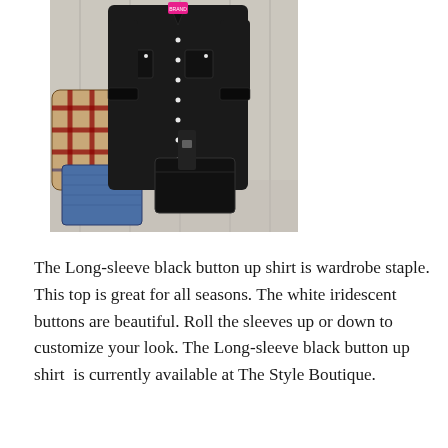[Figure (photo): A flat-lay photo of a long-sleeve black button-up shirt displayed against a white wood plank background, accompanied by blue jeans, a plaid/tartan handbag, and black accessories.]
The Long-sleeve black button up shirt is wardrobe staple. This top is great for all seasons. The white iridescent buttons are beautiful. Roll the sleeves up or down to customize your look. The Long-sleeve black button up shirt  is currently available at The Style Boutique.